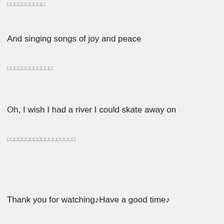□□□□□□□□□□
And singing songs of joy and peace
□□□□□□□□□□□□
Oh, I wish I had a river I could skate away on
□□□□□□□□□□□□□□□□□□
Thank you for watching♪Have a good time♪